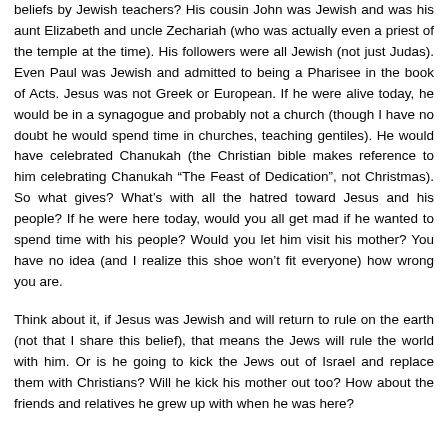beliefs by Jewish teachers? His cousin John was Jewish and was his aunt Elizabeth and uncle Zechariah (who was actually even a priest of the temple at the time). His followers were all Jewish (not just Judas). Even Paul was Jewish and admitted to being a Pharisee in the book of Acts. Jesus was not Greek or European. If he were alive today, he would be in a synagogue and probably not a church (though I have no doubt he would spend time in churches, teaching gentiles). He would have celebrated Chanukah (the Christian bible makes reference to him celebrating Chanukah “The Feast of Dedication”, not Christmas). So what gives? What’s with all the hatred toward Jesus and his people? If he were here today, would you all get mad if he wanted to spend time with his people? Would you let him visit his mother? You have no idea (and I realize this shoe won’t fit everyone) how wrong you are.
Think about it, if Jesus was Jewish and will return to rule on the earth (not that I share this belief), that means the Jews will rule the world with him. Or is he going to kick the Jews out of Israel and replace them with Christians? Will he kick his mother out too? How about the friends and relatives he grew up with when he was here?